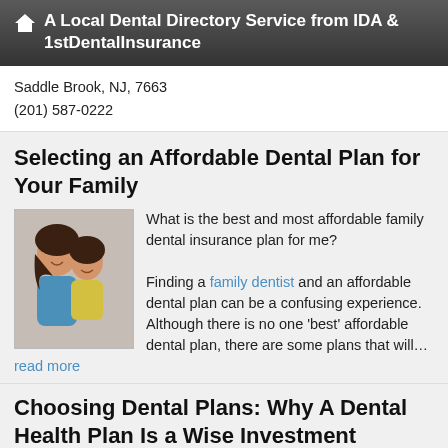A Local Dental Directory Service from IDA & 1stDentalInsurance
Saddle Brook, NJ, 7663
(201) 587-0222
Selecting an Affordable Dental Plan for Your Family
[Figure (photo): Photo of a mother and young daughter smiling together]
What is the best and most affordable family dental insurance plan for me?

Finding a family dentist and an affordable dental plan can be a confusing experience. Although there is no one 'best' affordable dental plan, there are some plans that will… read more
Choosing Dental Plans: Why A Dental Health Plan Is a Wise Investment
[Figure (photo): Photo of a father and daughter smiling]
Most of us think that taking care of our teeth is about having a great smile and avoiding the discomfort of a toothache. Although those are valid and important reasons for